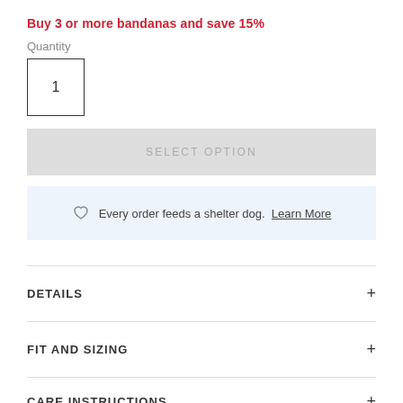Buy 3 or more bandanas and save 15%
Quantity
1
SELECT OPTION
Every order feeds a shelter dog. Learn More
DETAILS
FIT AND SIZING
CARE INSTRUCTIONS